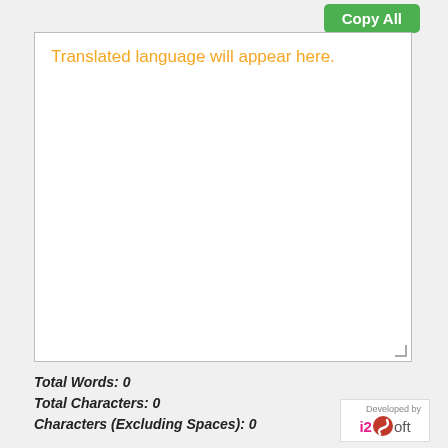Copy All
[Figure (screenshot): A large white text area (output box) with placeholder text 'Translated language will appear here.' in orange, with a resize handle at bottom right.]
Total Words: 0
Total Characters: 0
Characters (Excluding Spaces): 0
[Figure (logo): Developed by i2Soft logo — text 'Developed by' above, then '12' in pink and a red S-shaped swoosh graphic, then 'oft' in gray.]